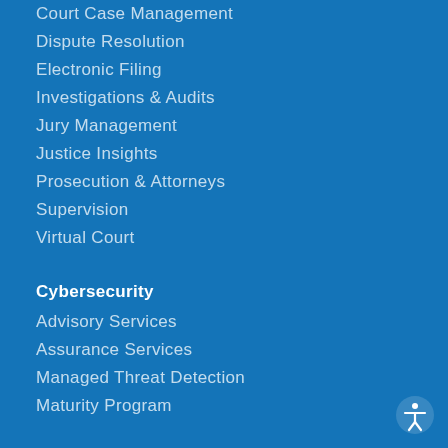Court Case Management
Dispute Resolution
Electronic Filing
Investigations & Audits
Jury Management
Justice Insights
Prosecution & Attorneys
Supervision
Virtual Court
Cybersecurity
Advisory Services
Assurance Services
Managed Threat Detection
Maturity Program